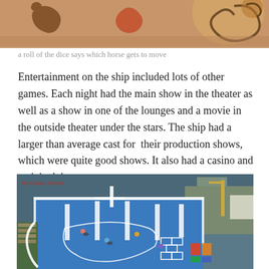[Figure (photo): Top portion of a colorful board game with horse/animal pieces on a patterned surface with warm orange/brown colors.]
a roll of the dice says which horse gets to move
Entertainment on the ship included lots of other games. Each night had the main show in the theater as well as a show in one of the lounges and a movie in the outside theater under the stars. The ship had a larger than average cast for their production shows, which were quite good shows. It also had a casino and a nightclub.
[Figure (photo): Aerial view of a cruise ship deck showing a large blue sports court area with white line markings, people on tricycles/bikes, lounge chairs visible on the left side, and water/dock visible in the background. Watermark reads 'My Cruise Stories'.]